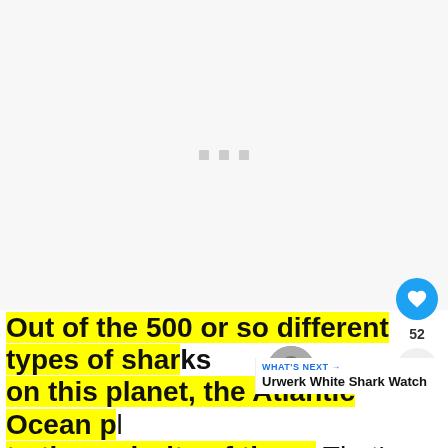[Figure (other): Loading placeholder with three small gray squares on a light gray background, indicating media content is loading]
Out of the 500 or so different types of sharks on this planet, the Atlantic Ocean plays home to the majority of them. That's not entirely
[Figure (other): What's Next panel showing thumbnail and title 'Urwerk White Shark Watch']